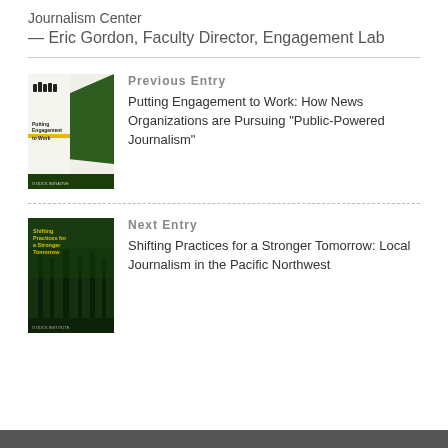Journalism Center
— Eric Gordon, Faculty Director, Engagement Lab
Previous Entry
Putting Engagement to Work: How News Organizations are Pursuing “Public-Powered Journalism”
[Figure (illustration): Book cover: Putting Engagement to Work, white and green cover with silhouette figures]
Next Entry
Shifting Practices for a Stronger Tomorrow: Local Journalism in the Pacific Northwest
[Figure (illustration): Book cover: Shifting Practices for a Stronger Tomorrow, dark green forest cover with yellow title text]